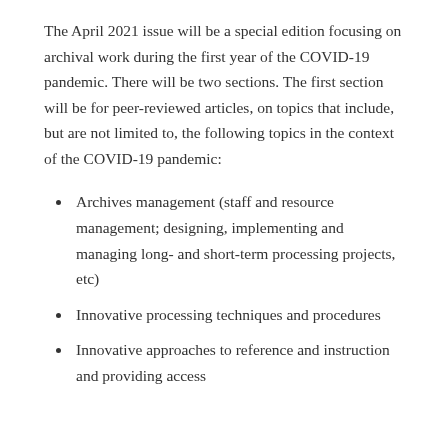The April 2021 issue will be a special edition focusing on archival work during the first year of the COVID-19 pandemic. There will be two sections. The first section will be for peer-reviewed articles, on topics that include, but are not limited to, the following topics in the context of the COVID-19 pandemic:
Archives management (staff and resource management; designing, implementing and managing long- and short-term processing projects, etc)
Innovative processing techniques and procedures
Innovative approaches to reference and instruction and providing access